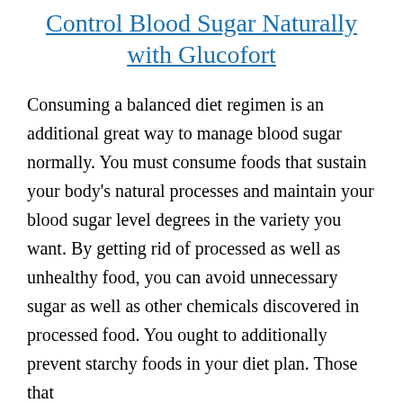Control Blood Sugar Naturally with Glucofort
Consuming a balanced diet regimen is an additional great way to manage blood sugar normally. You must consume foods that sustain your body's natural processes and maintain your blood sugar level degrees in the variety you want. By getting rid of processed as well as unhealthy food, you can avoid unnecessary sugar as well as other chemicals discovered in processed food. You ought to additionally prevent starchy foods in your diet plan. Those that